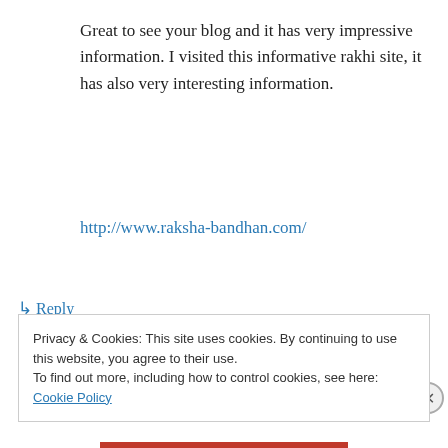Great to see your blog and it has very impressive information. I visited this informative rakhi site, it has also very interesting information.
http://www.raksha-bandhan.com/
↳ Reply
Адам on May 3, 2010 at 5:38 am
Да уж, такие положительные результаты 🙂
Privacy & Cookies: This site uses cookies. By continuing to use this website, you agree to their use.
To find out more, including how to control cookies, see here: Cookie Policy
Close and accept